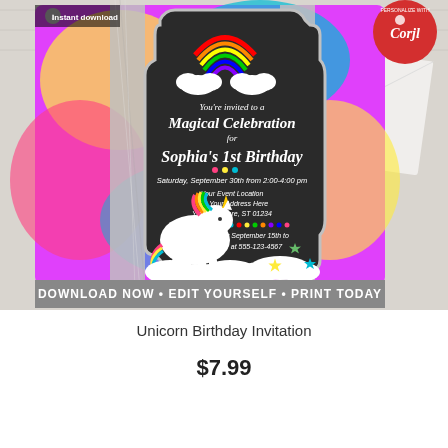[Figure (photo): Product listing image of a unicorn birthday party invitation. The invitation features a chalkboard-style dark background with colorful tie-dye/rainbow glitter border. Text on invitation reads: 'You're invited to a Magical Celebration for Sophia's 1st Birthday, Saturday September 30th from 2:00-4:00 pm, Your Event Location, 123 Your Address Here, Your City Here, ST 01234, RSVP by September 15th to Ashley at 555-123-4567'. Features a white unicorn with rainbow mane, rainbow with clouds at top, colorful stars and clouds at bottom. A silver glitter envelope is behind the invitation. Bottom banner reads 'DOWNLOAD NOW • EDIT YOURSELF • PRINT TODAY'. Top right shows a Corjl logo badge. Top left shows a download/instant download icon and text.]
Unicorn Birthday Invitation
$7.99